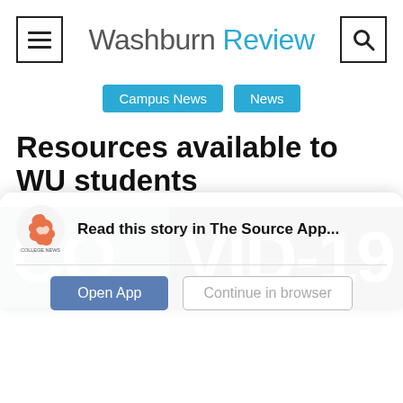Washburn Review
Campus News   News
Resources available to WU students
[Figure (other): COVID-19 banner image with teal and black background]
Read this story in The Source App...
Open App   Continue in browser